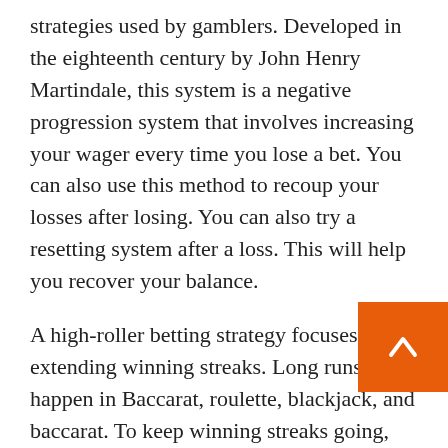strategies used by gamblers. Developed in the eighteenth century by John Henry Martindale, this system is a negative progression system that involves increasing your wager every time you lose a bet. You can also use this method to recoup your losses after losing. You can also try a resetting system after a loss. This will help you recover your balance.
A high-roller betting strategy focuses on extending winning streaks. Long runs can happen in Baccarat, roulette, blackjack, and baccarat. To keep winning streaks going, you must know when to bet and when to walk away. One way to stay in the game is to halve your winnings. A bet placed on a player will win you money in the casino. But be careful not to double your bet if you have a streak that ended with a loss.
Another betting system is called the Negative Progression